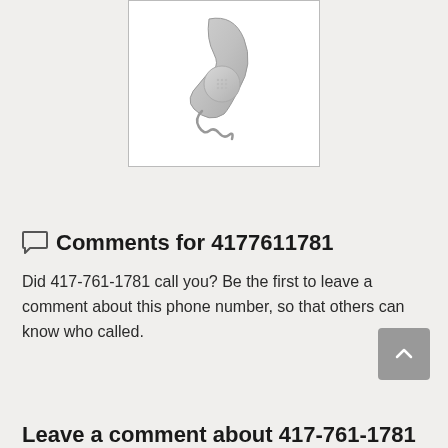[Figure (illustration): A grey telephone handset with a coiled cord, displayed inside a bordered white box, centered near the top of the page.]
Comments for 4177611781
Did 417-761-1781 call you? Be the first to leave a comment about this phone number, so that others can know who called.
Leave a comment about 417-761-1781